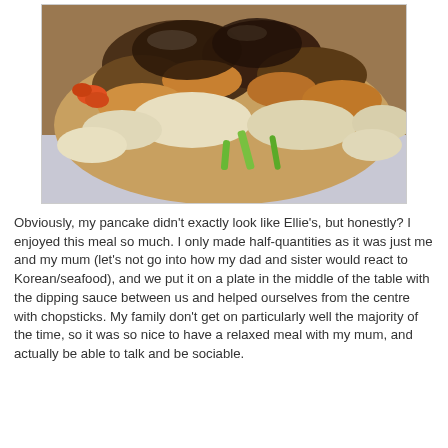[Figure (photo): Close-up photo of a Korean seafood pancake (pajeon) on a plate, showing browned crispy top with visible green onions and other ingredients, served on a white plate]
Obviously, my pancake didn't exactly look like Ellie's, but honestly? I enjoyed this meal so much. I only made half-quantities as it was just me and my mum (let's not go into how my dad and sister would react to Korean/seafood), and we put it on a plate in the middle of the table with the dipping sauce between us and helped ourselves from the centre with chopsticks. My family don't get on particularly well the majority of the time, so it was so nice to have a relaxed meal with my mum, and actually be able to talk and be sociable.